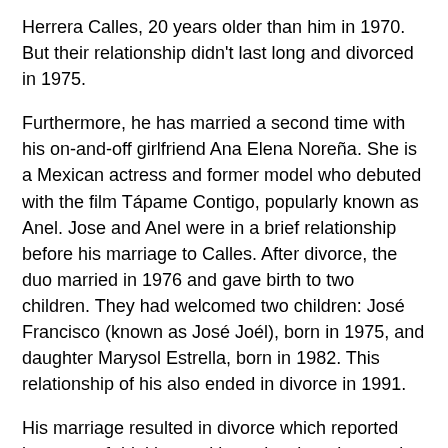Herrera Calles, 20 years older than him in 1970. But their relationship didn't last long and divorced in 1975.
Furthermore, he has married a second time with his on-and-off girlfriend Ana Elena Noreña. She is a Mexican actress and former model who debuted with the film Tápame Contigo, popularly known as Anel. Jose and Anel were in a brief relationship before his marriage to Calles. After divorce, the duo married in 1976 and gave birth to two children. They had welcomed two children: José Francisco (known as José Joél), born in 1975, and daughter Marysol Estrella, born in 1982. This relationship of his also ended in divorce in 1991.
His marriage resulted in divorce which reported because of drinking and later developed a cocaine habit. In 1972, he had suffered a severe case of